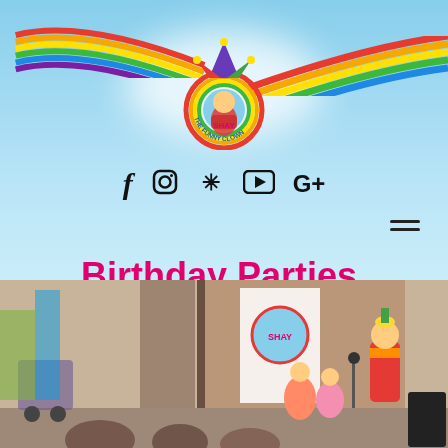[Figure (logo): Shay The Funny Clown circular logo with a jester character on top, rainbow arc stripes across the top of the page, and cloud background]
[Figure (infographic): Social media icons row: Facebook, Instagram, Yelp, YouTube, Google+]
Birthday Parties, Corporate Events & More....
[Figure (photo): Photo of a clown performer in pink outfit entertaining children at a birthday party in a room with a Shay the Funny Clown banner]